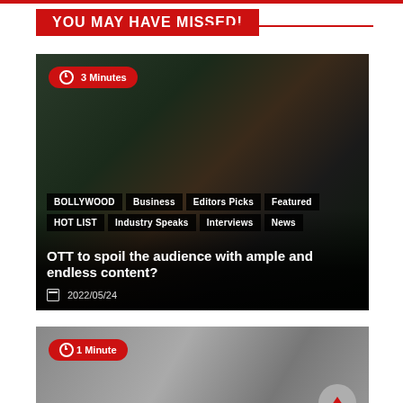YOU MAY HAVE MISSED!
[Figure (photo): Dark moody photo of a young man with blood on face, zombie-like appearance, with trees in background. Overlaid with category tags: BOLLYWOOD, Business, Editors Picks, Featured, HOT LIST, Industry Speaks, Interviews, News. Article title: OTT to spoil the audience with ample and endless content? Date: 2022/05/24. Read time: 3 Minutes.]
[Figure (photo): Photo of a young woman looking directly at camera, gray background. Read time: 1 Minute.]